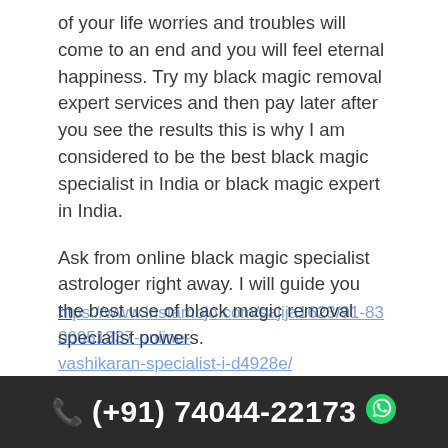of your life worries and troubles will come to an end and you will feel eternal happiness. Try my black magic removal expert services and then pay later after you see the results this is why I am considered to be the best black magic specialist in India or black magic expert in India.
Ask from online black magic specialist astrologer right away. I will guide you the best use of black magic removal specialist powers.
https://www.instamojo.com/sajija1623/91-8306951337-online-vashikaran-specialist-i-4436f/
https://www.instamojo.com/sajija1623/91-8306951337-online-vashikaran-specialist-i-a4846/
https://www.instamojo.com/sajija1623/91-8306951337-online-vashikaran-specialist-i-44922/
(+91) 74044-22173